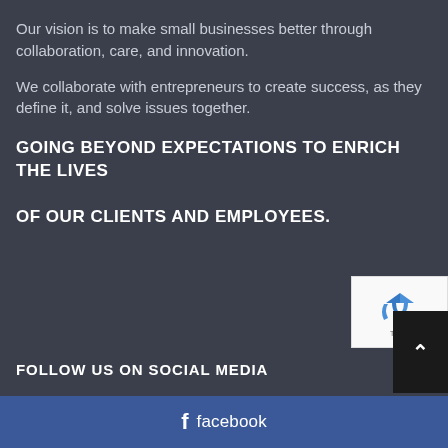Our vision is to make small businesses better through collaboration, care, and innovation.
We collaborate with entrepreneurs to create success, as they define it, and solve issues together.
GOING BEYOND EXPECTATIONS TO ENRICH THE LIVES OF OUR CLIENTS AND EMPLOYEES.
FOLLOW US ON SOCIAL MEDIA
facebook